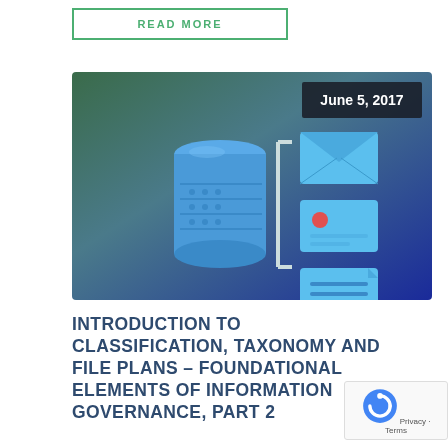READ MORE
[Figure (illustration): Decorative banner image with gradient background (green to blue) showing a database cylinder icon and document type icons (email, image, file) with a bracket symbol. Date badge shows June 5, 2017.]
INTRODUCTION TO CLASSIFICATION, TAXONOMY AND FILE PLANS – FOUNDATIONAL ELEMENTS OF INFORMATION GOVERNANCE, PART 2